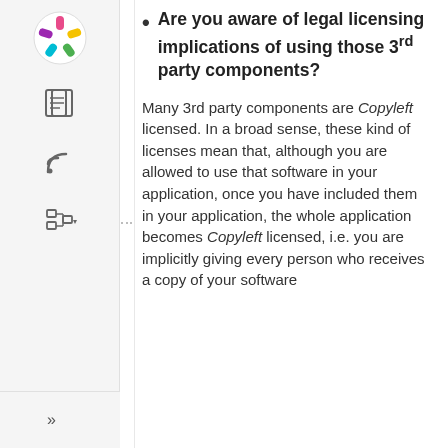Are you aware of legal licensing implications of using those 3rd party components?
Many 3rd party components are Copyleft licensed. In a broad sense, these kind of licenses mean that, although you are allowed to use that software in your application, once you have included them in your application, the whole application becomes Copyleft licensed, i.e. you are implicitly giving every person who receives a copy of your software